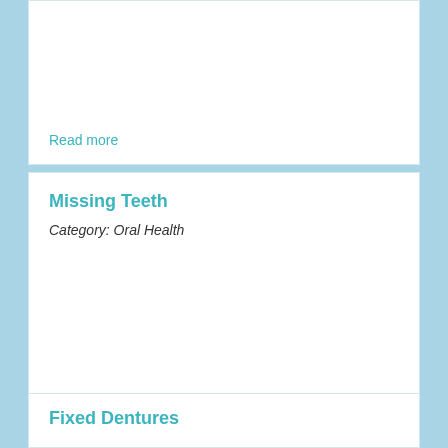Read more
Missing Teeth
Category: Oral Health
Read more
Fixed Dentures